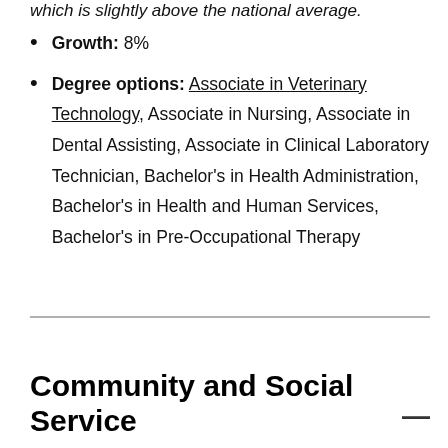which is slightly above the national average.
Growth: 8%
Degree options: Associate in Veterinary Technology, Associate in Nursing, Associate in Dental Assisting, Associate in Clinical Laboratory Technician, Bachelor's in Health Administration, Bachelor's in Health and Human Services, Bachelor's in Pre-Occupational Therapy
Community and Social Service